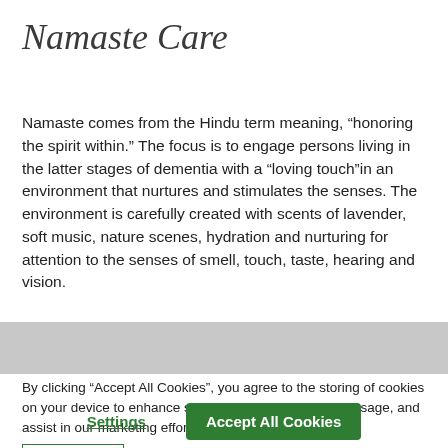Namaste Care
Namaste comes from the Hindu term meaning, “honoring the spirit within.” The focus is to engage persons living in the latter stages of dementia with a “loving touch”in an environment that nurtures and stimulates the senses. The environment is carefully created with scents of lavender, soft music, nature scenes, hydration and nurturing for attention to the senses of smell, touch, taste, hearing and vision.
By clicking “Accept All Cookies”, you agree to the storing of cookies on your device to enhance site navigation, analyze site usage, and assist in our marketing efforts.
Privacy Policy
Settings
Accept All Cookies